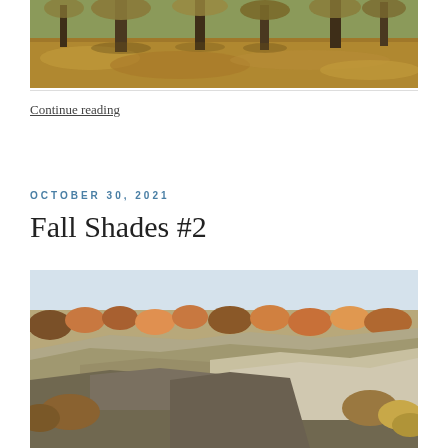[Figure (photo): Autumn park scene with trees and fallen leaves covering the ground, cropped to show base of trees and leaf-covered floor.]
Continue reading
OCTOBER 30, 2021
Fall Shades #2
[Figure (photo): Autumn landscape with rocky cliff face in the foreground and trees with orange and red foliage along the ridge under a pale sky.]